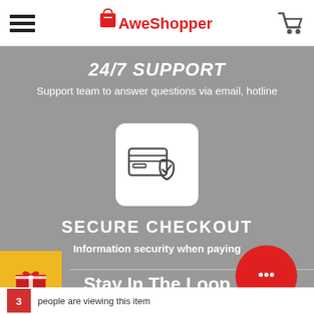AweShopper
24/7 SUPPORT
Support team to answer questions via email, hotline
[Figure (illustration): Secure checkout icon: credit card with shield and checkmark on white rounded square background]
SECURE CHECKOUT
Information security when paying
[Figure (illustration): Gift box icon on yellow/orange square button on left side]
Stay In The Loop
[Figure (illustration): Red circle with white speech bubble / chat icon on right side]
3 people are viewing this item